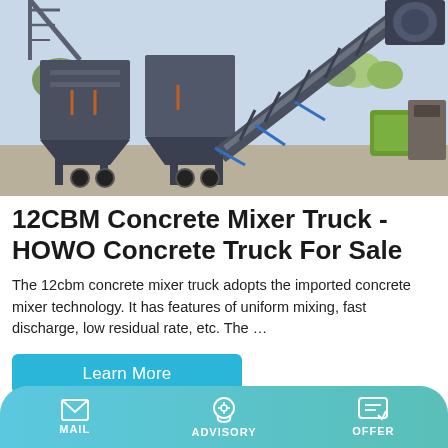[Figure (photo): Outdoor photo of a large concrete batching plant / mixer machine with steel hopper bins, conveyor belt system, and truss framework, photographed in an industrial yard with a crane and trees visible in background.]
12CBM Concrete Mixer Truck - HOWO Concrete Truck For Sale
The 12cbm concrete mixer truck adopts the imported concrete mixer technology. It has features of uniform mixing, fast discharge, low residual rate, etc. The …
Learn More
MAIL   ADVISORY   OFFER